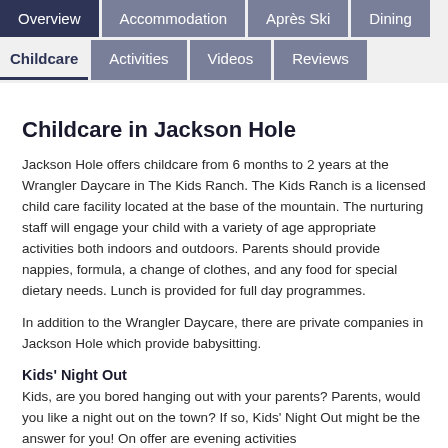Overview | Accommodation | Après Ski | Dining | Childcare | Activities | Videos | Reviews
Childcare in Jackson Hole
Jackson Hole offers childcare from 6 months to 2 years at the Wrangler Daycare in The Kids Ranch. The Kids Ranch is a licensed child care facility located at the base of the mountain. The nurturing staff will engage your child with a variety of age appropriate activities both indoors and outdoors. Parents should provide nappies, formula, a change of clothes, and any food for special dietary needs. Lunch is provided for full day programmes.
In addition to the Wrangler Daycare, there are private companies in Jackson Hole which provide babysitting.
Kids' Night Out
Kids, are you bored hanging out with your parents? Parents, would you like a night out on the town? If so, Kids' Night Out might be the answer for you! On offer are evening activities